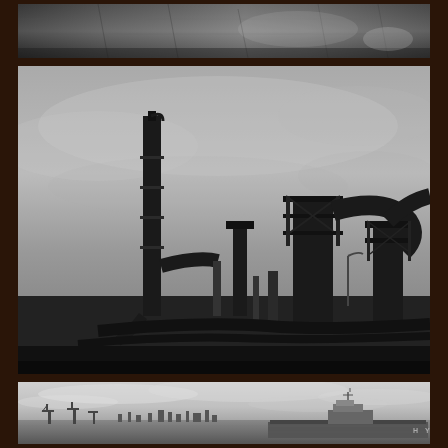[Figure (photo): Black and white aerial or overhead photograph showing an industrial facility or urban infrastructure from above, with machinery and structural elements visible.]
[Figure (photo): Black and white photograph of an industrial refinery or chemical plant silhouette. Tall distillation columns, pipes, and scaffolding structures rise against a dramatic overcast sky.]
[Figure (photo): Black and white photograph of a harbor or port scene. A large cargo ship is visible on water with a city skyline and port cranes in the background under a cloudy sky.]